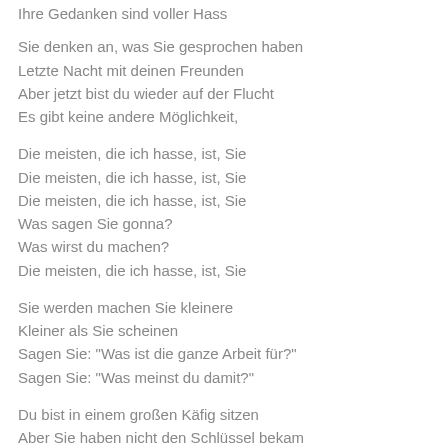Ihre Gedanken sind voller Hass
Sie denken an, was Sie gesprochen haben
Letzte Nacht mit deinen Freunden
Aber jetzt bist du wieder auf der Flucht
Es gibt keine andere Möglichkeit,
Die meisten, die ich hasse, ist, Sie
Die meisten, die ich hasse, ist, Sie
Die meisten, die ich hasse, ist, Sie
Was sagen Sie gonna?
Was wirst du machen?
Die meisten, die ich hasse, ist, Sie
Sie werden machen Sie kleinere
Kleiner als Sie scheinen
Sagen Sie: "Was ist die ganze Arbeit für?"
Sagen Sie: "Was meinst du damit?"
Du bist in einem großen Käfig sitzen
Aber Sie haben nicht den Schlüssel bekam
Der Schlüssel ist Ihre große Bälle bekam
Es gibt keine Möglichkeit, dass ...